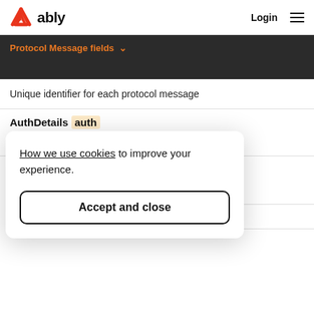ably — Login
Protocol Message fields
Unique identifier for each protocol message
AuthDetails auth
Object used for providing authentication details
string channel
How we use cookies to improve your experience.
Accept and close
i32 count